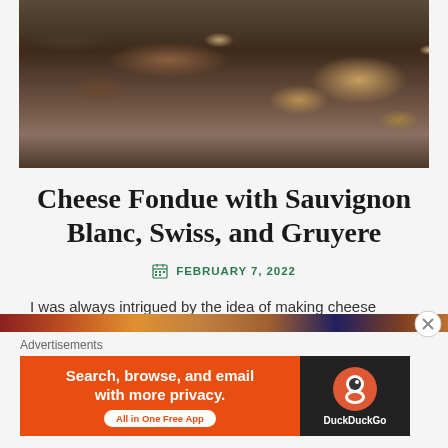[Figure (photo): Food photo showing cheese fondue accompaniments — bread pieces, vegetables on a dark wooden board]
Cheese Fondue with Sauvignon Blanc, Swiss, and Gruyere
FEBRUARY 7, 2022
I was always intrigued by the idea of making cheese fondue but I never worked up the momentum until I saw an absolutely gorgeous photo of fondue and all its... READ MORE →
[Figure (photo): Colorful food photo strip at bottom]
Advertisements
[Figure (infographic): DuckDuckGo advertisement banner: Search, browse, and email with more privacy. All in One Free App]